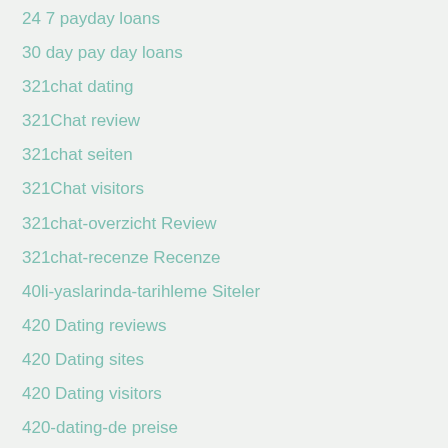24 7 payday loans
30 day pay day loans
321chat dating
321Chat review
321chat seiten
321Chat visitors
321chat-overzicht Review
321chat-recenze Recenze
40li-yaslarinda-tarihleme Siteler
420 Dating reviews
420 Dating sites
420 Dating visitors
420-dating-de preise